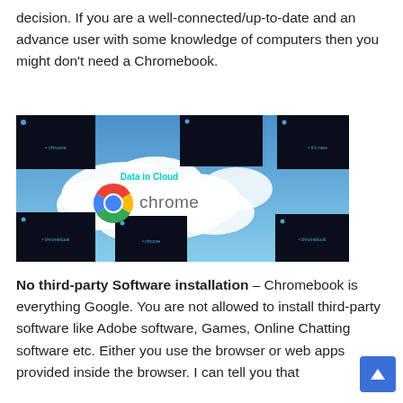decision. If you are a well-connected/up-to-date and an advance user with some knowledge of computers then you might don't need a Chromebook.
[Figure (illustration): A composite image showing a blue sky with clouds, multiple dark screen thumbnails arranged around the edges, a Chrome browser logo in the center-left with the text 'chrome', and 'Data in Cloud' text above it.]
No third-party Software installation – Chromebook is everything Google. You are not allowed to install third-party software like Adobe software, Games, Online Chatting software etc. Either you use the browser or web apps provided inside the browser. I can tell you that